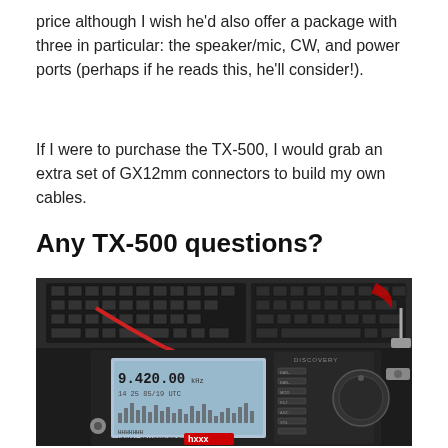price although I wish he'd also offer a package with three in particular: the speaker/mic, CW, and power ports (perhaps if he reads this, he'll consider!).
If I were to purchase the TX-500, I would grab an extra set of GX12mm connectors to build my own cables.
Any TX-500 questions?
[Figure (photo): Close-up photo of a TX-500 radio transceiver on a desk showing its LCD screen displaying 9.420.00 frequency, control knobs, buttons, and a keyboard in the background with red cables.]